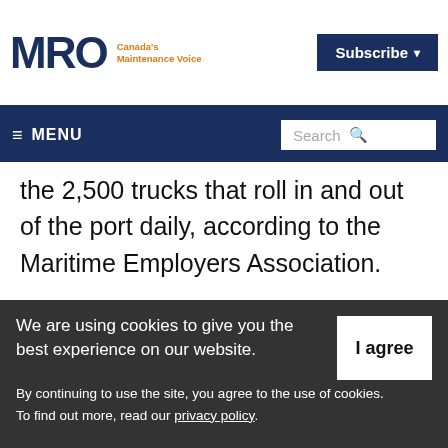MRO Canada's Maintenance Voice | Subscribe
MENU | Search
the 2,500 trucks that roll in and out of the port daily, according to the Maritime Employers Association.
The association says it will take two to four weeks to move the accumulated containers and bulk goods off the terminals and onto
We are using cookies to give you the best experience on our website. By continuing to use the site, you agree to the use of cookies. To find out more, read our privacy policy.